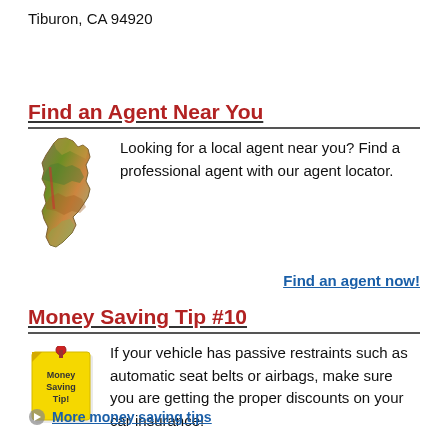Tiburon, CA 94920
Find an Agent Near You
[Figure (illustration): Map of California state shown as a colorful topographic illustration]
Looking for a local agent near you? Find a professional agent with our agent locator.
Find an agent now!
Money Saving Tip #10
[Figure (illustration): Yellow sticky note with red pin reading Money Saving Tip!]
If your vehicle has passive restraints such as automatic seat belts or airbags, make sure you are getting the proper discounts on your car insurance!
More money saving tips